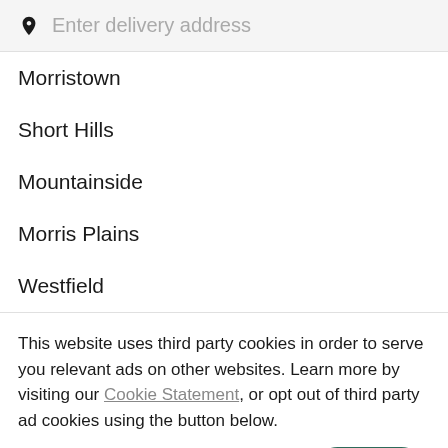Enter delivery address
Morristown
Short Hills
Mountainside
Morris Plains
Westfield
This website uses third party cookies in order to serve you relevant ads on other websites. Learn more by visiting our Cookie Statement, or opt out of third party ad cookies using the button below.
OPT OUT
GOT IT